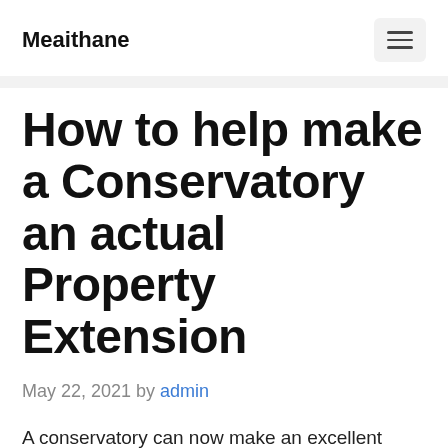Meaithane
How to help make a Conservatory an actual Property Extension
May 22, 2021 by admin
A conservatory can now make an excellent